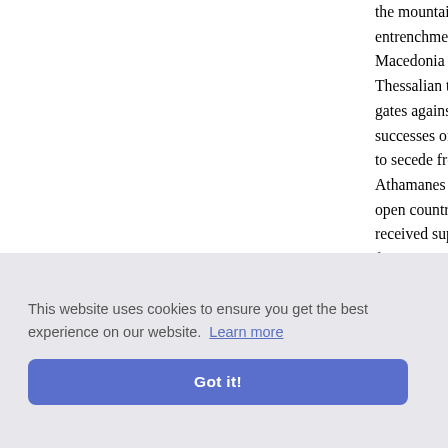the mountains commanding the pos entrenchments and nearly 2000 men, a Macedonia proper. He gave up every Thessalian towns, which he could not gates against him and thereby escape successes of the Roman arms, partly by to secede from the Macedonian allian Athamanes and Aetolians immediately open country was easily overrun, but th received support from Philip, fell only a foe—especially Atrax on the left bank as a substitute for the wall. Except thes Acarnanians, all northern Greece was th
nce with P was still i Corinth boeotians was too resolved to direct his land army and fle The fleet, which had obtained...
[Figure (screenshot): Cookie consent banner with gray background. Text reads 'This website uses cookies to ensure you get the best experience on our website. Learn more' with a blue 'Got it!' button.]